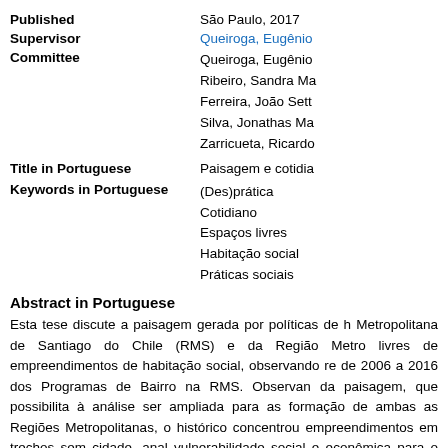| Published | São Paulo, 2017 |
| Supervisor | Queiroga, Eugênio |
| Committee | Queiroga, Eugênio
Ribeiro, Sandra Ma
Ferreira, João Sett
Silva, Jonathas Ma
Zarricueta, Ricardo |
| Title in Portuguese | Paisagem e cotidia |
| Keywords in Portuguese | (Des)prática
Cotidiano
Espaços livres
Habitação social
Práticas sociais |
Abstract in Portuguese
Esta tese discute a paisagem gerada por políticas de h Metropolitana de Santiago do Chile (RMS) e da Região Metro livres de empreendimentos de habitação social, observando re de 2006 a 2016 dos Programas de Bairro na RMS. Observan da paisagem, que possibilita à análise ser ampliada para as formação de ambas as Regiões Metropolitanas, o histórico concentrou empreendimentos em trechos sem cidade, anal vulnerabilidade social e econômica para o cotidiano das práti social, amplamente aplicado em ambos os países, é confro